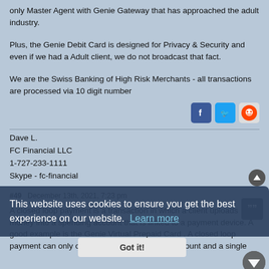only Master Agent with Genie Gateway that has approached the adult industry.
Plus, the Genie Debit Card is designed for Privacy & Security and even if we had a Adult client, we do not broadcast that fact.
We are the Swiss Banking of High Risk Merchants - all transactions are processed via 10 digit number
Dave L.
FC Financial LLC
1-727-233-1111
Skype - fc-financial
#49  December 13th, 2021, 7:23 pm
A closed loop payment is a transaction in which a client uploads money into a spending account that is linked to a payment device. A good example is the Genie Virtual Prepaid Card . A closed loop payment can only occur between a spending account and a single
This website uses cookies to ensure you get the best experience on our website. Learn more
Got it!